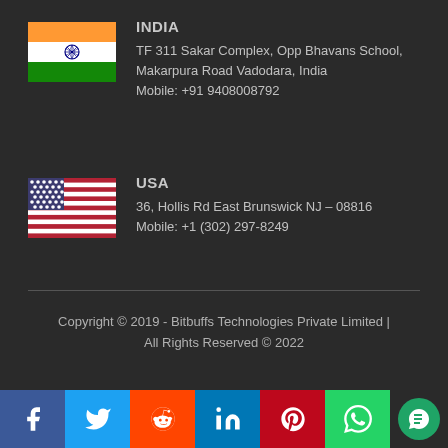[Figure (illustration): India flag icon - saffron, white with Ashoka chakra, and green horizontal stripes]
INDIA
TF 311 Sakar Complex, Opp Bhavans School,
Makarpura Road Vadodara, India
Mobile: +91 9408008792
[Figure (illustration): USA flag icon - stars and stripes]
USA
36, Hollis Rd East Brunswick NJ – 08816
Mobile: +1 (302) 297-8249
Copyright © 2019 - Bitbuffs Technologies Private Limited | All Rights Reserved © 2022
[Figure (infographic): Social media share bar: Facebook, Twitter, Reddit, LinkedIn, Pinterest, WhatsApp, chat bubble]